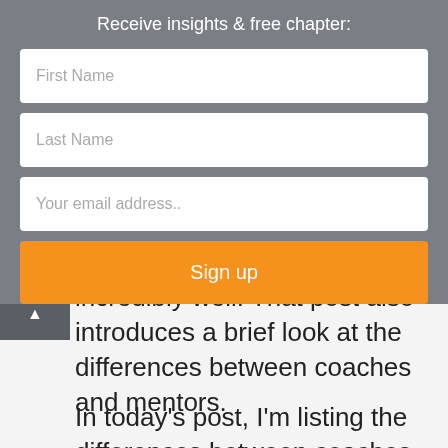Receive insights & free chapter:
First Name
Last Name
Your email address..
Sign up
incredibly well. That post also introduces a brief look at the differences between coaches and mentors.
In today's post, I'm listing the differences between coaches and mentors in more detail, and then